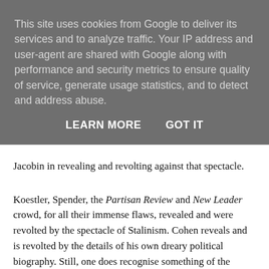This site uses cookies from Google to deliver its services and to analyze traffic. Your IP address and user-agent are shared with Google along with performance and security metrics to ensure quality of service, generate usage statistics, and to detect and address abuse.
LEARN MORE   GOT IT
Jacobin in revealing and revolting against that spectacle.
Koestler, Spender, the Partisan Review and New Leader crowd, for all their immense flaws, revealed and were revolted by the spectacle of Stalinism. Cohen reveals and is revolted by the details of his own dreary political biography. Still, one does recognise something of the current belligerati in this:
Worse still is the ex-Communist's characteristic incapacity for detachment. His emotional reaction against his former environment keeps him in its deadly grip and prevents him from understanding the drama